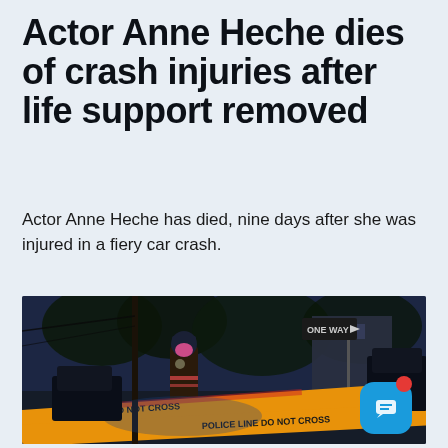Actor Anne Heche dies of crash injuries after life support removed
Actor Anne Heche has died, nine days after she was injured in a fiery car crash.
[Figure (photo): A law enforcement officer wearing a pink mask and dark uniform stands near police crime scene tape at night. The background shows trees, a building, and a one-way street sign. The scene is dimly lit in blue-purple tones with orange police tape in the foreground.]